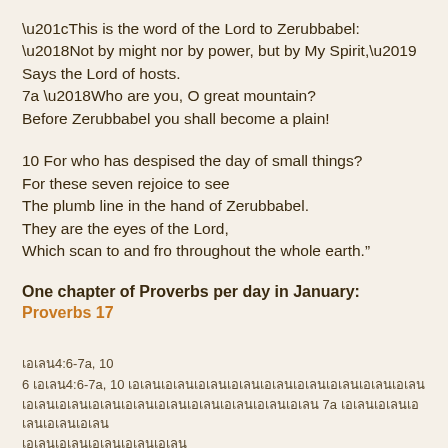“This is the word of the Lord to Zerubbabel:
‘Not by might nor by power, but by My Spirit,’
Says the Lord of hosts.
7a ‘Who are you, O great mountain?
Before Zerubbabel you shall become a plain!

10 For who has despised the day of small things?
For these seven rejoice to see
The plumb line in the hand of Zerubbabel.
They are the eyes of the Lord,
Which scan to and fro throughout the whole earth.”
One chapter of Proverbs per day in January: Proverbs 17
เอเลก4:6-7a, 10
6 เอเลก4:6-7a, 10 Thai text